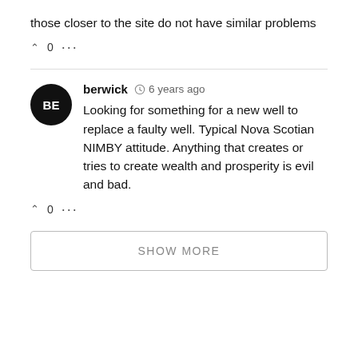those closer to the site do not have similar problems
^ 0 ...
berwick  6 years ago
Looking for something for a new well to replace a faulty well. Typical Nova Scotian NIMBY attitude. Anything that creates or tries to create wealth and prosperity is evil and bad.
^ 0 ...
SHOW MORE